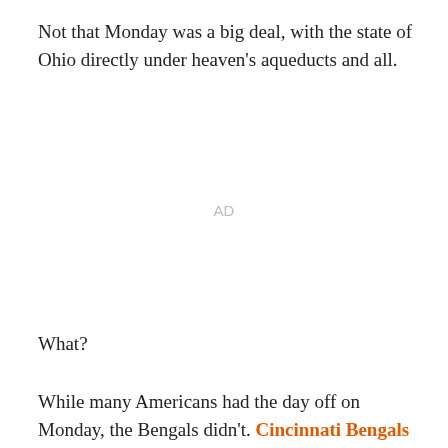Not that Monday was a big deal, with the state of Ohio directly under heaven's aqueducts and all.
AD
What?
While many Americans had the day off on Monday, the Bengals didn't. Cincinnati Bengals announced